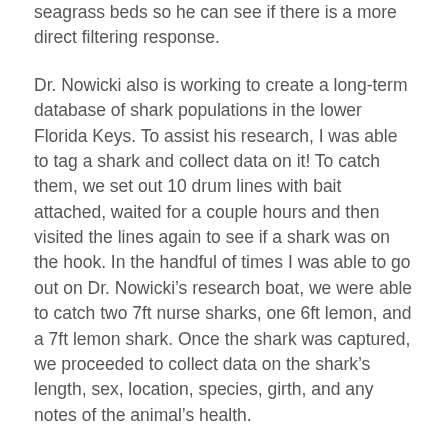seagrass beds so he can see if there is a more direct filtering response.
Dr. Nowicki also is working to create a long-term database of shark populations in the lower Florida Keys. To assist his research, I was able to tag a shark and collect data on it! To catch them, we set out 10 drum lines with bait attached, waited for a couple hours and then visited the lines again to see if a shark was on the hook. In the handful of times I was able to go out on Dr. Nowicki’s research boat, we were able to catch two 7ft nurse sharks, one 6ft lemon, and a 7ft lemon shark. Once the shark was captured, we proceeded to collect data on the shark’s length, sex, location, species, girth, and any notes of the animal’s health.
A third project I was able to work on was his ongoing